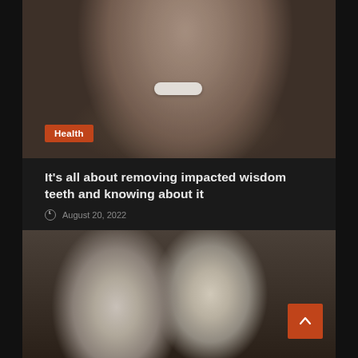[Figure (photo): Photo of a smiling man with beard and white teeth, partially darkened]
Health
It's all about removing impacted wisdom teeth and knowing about it
August 20, 2022
[Figure (photo): Photo of a doctor (blonde woman in white coat) consulting with an elderly patient]